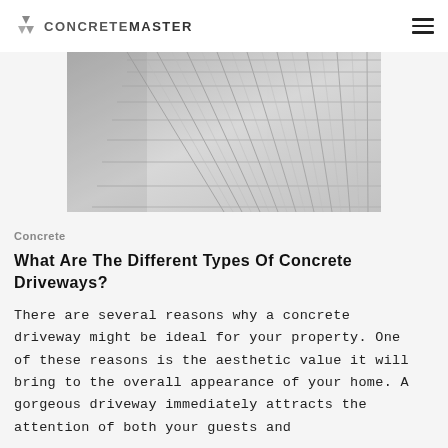CONCRETEMASTER
[Figure (photo): Aerial/perspective view of a concrete/brick paver driveway with elongated rectangular gray pavers arranged in a herringbone or linear pattern, photographed from above at an angle.]
Concrete
What Are The Different Types Of Concrete Driveways?
There are several reasons why a concrete driveway might be ideal for your property. One of these reasons is the aesthetic value it will bring to the overall appearance of your home. A gorgeous driveway immediately attracts the attention of both your guests and